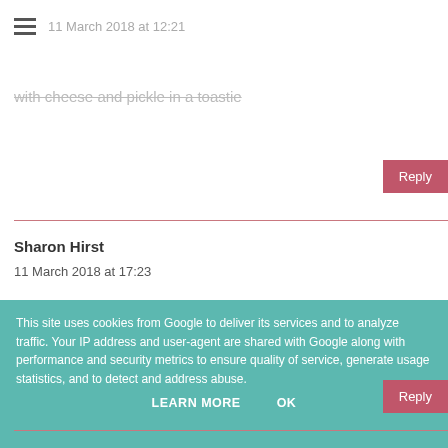11 March 2018 at 12:21
with cheese and pickle in a toastie
Reply
Sharon Hirst
11 March 2018 at 17:23
Spam fritters with baked beans
Reply
This site uses cookies from Google to deliver its services and to analyze traffic. Your IP address and user-agent are shared with Google along with performance and security metrics to ensure quality of service, generate usage statistics, and to detect and address abuse.
LEARN MORE   OK